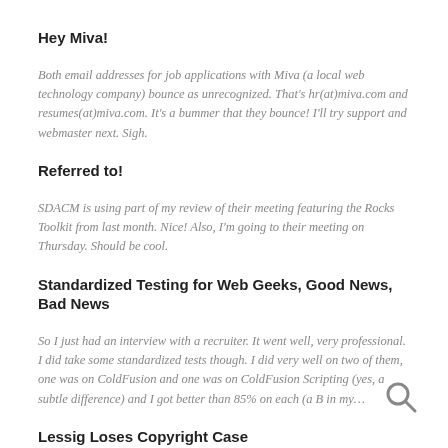Hey Miva!
Both email addresses for job applications with Miva (a local web technology company) bounce as unrecognized. That's hr(at)miva.com and resumes(at)miva.com. It's a bummer that they bounce! I'll try support and webmaster next. Sigh.
Referred to!
SDACM is using part of my review of their meeting featuring the Rocks Toolkit from last month. Nice! Also, I'm going to their meeting on Thursday. Should be cool.
Standardized Testing for Web Geeks, Good News, Bad News
So I just had an interview with a recruiter. It went well, very professional. I did take some standardized tests though. I did very well on two of them, one was on ColdFusion and one was on ColdFusion Scripting (yes, a subtle difference) and I got better than 85% on each (a B in my…
Lessig Loses Copyright Case
This is the most poignant post on the Lessig affair. Go read more about it on eldred.cc
MSIE Rollover Caching Bug
This is a peculiar bug: JavaScript Tip: Avoid An IE Rollover Bug Browsers